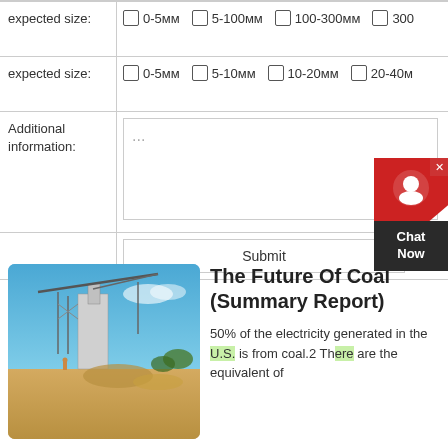| Field | Options |
| --- | --- |
| expected size: | 0-5мм  5-100мм  100-300мм  300+ |
| expected size: | 0-5мм  5-10мм  10-20мм  20-40м+ |
| Additional information: | ... |
|  | Submit |
[Figure (photo): Industrial coal processing plant or crusher with a tall structure, conveyor arm, and workers on site, blue sky background with earthen ground.]
The Future Of Coal (Summary Report)
50% of the electricity generated in the U.S. is from coal.2 There are the equivalent of